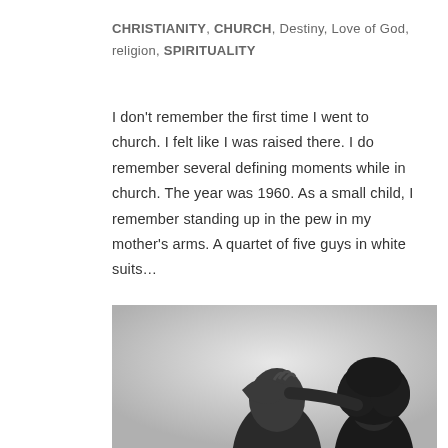CHRISTIANITY, CHURCH, Destiny, Love of God, religion, SPIRITUALITY
I don't remember the first time I went to church. I felt like I was raised there. I do remember several defining moments while in church. The year was 1960. As a small child, I remember standing up in the pew in my mother's arms. A quartet of five guys in white suits…
[Figure (photo): Black and white photograph showing two people; one person covering their eyes with their hand, another person with an afro visible on the right side.]